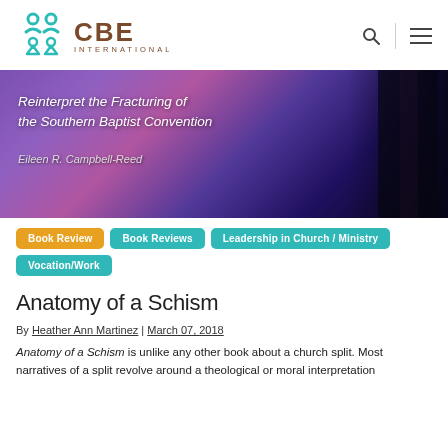[Figure (logo): CBE International logo with teal icon and brown text]
[Figure (photo): Book cover image with purple/dark background showing title 'Reinterpret the Fracturing of the Southern Baptist Convention' by Eileen R. Campbell-Reed]
Book Review | Book Reviews | Leadership in Church / Ministry | Vocation/Work
Anatomy of a Schism
By Heather Ann Martinez | March 07, 2018
Anatomy of a Schism is unlike any other book about a church split. Most narratives of a split revolve around a theological or moral interpretation